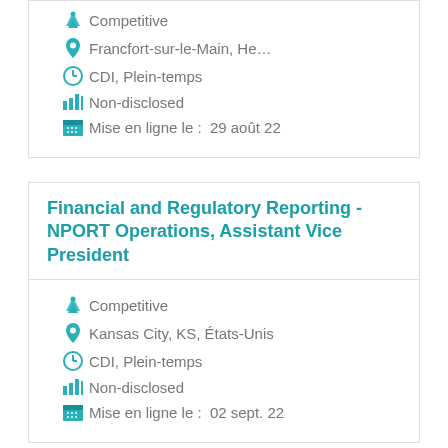Competitive
Francfort-sur-le-Main, He…
CDI, Plein-temps
Non-disclosed
Mise en ligne le :  29 août 22
Financial and Regulatory Reporting - NPORT Operations, Assistant Vice President
Competitive
Kansas City, KS, États-Unis
CDI, Plein-temps
Non-disclosed
Mise en ligne le :  02 sept. 22
Finance Regulatory Reporting, Officer (Hybrid)